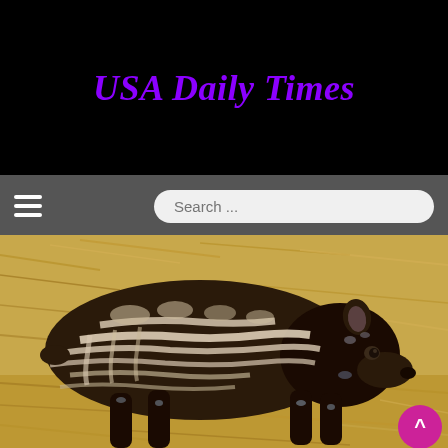USA Daily Times
[Figure (screenshot): Navigation bar with hamburger menu icon on the left and a rounded search box with placeholder text 'Search ...' on the right, on a dark gray background]
[Figure (photo): A young tapir calf with distinctive white and beige stripes and spots on dark brown/black fur, standing on hay/straw bedding. The calf faces right and shows characteristic tapir body shape. A pink scroll-to-top button appears in the bottom right corner.]